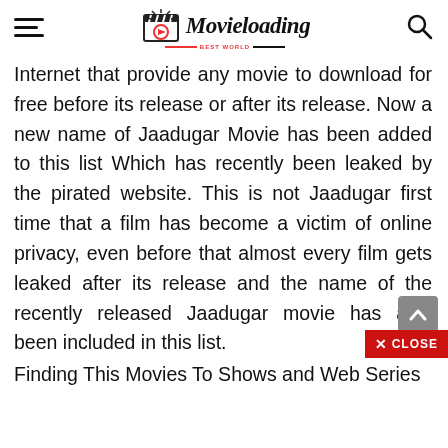Movieloading
Internet that provide any movie to download for free before its release or after its release. Now a new name of Jaadugar Movie has been added to this list Which has recently been leaked by the pirated website. This is not Jaadugar first time that a film has become a victim of online privacy, even before that almost every film gets leaked after its release and the name of the recently released Jaadugar movie has also been included in this list.
Finding This Movies To Shows and Web Series